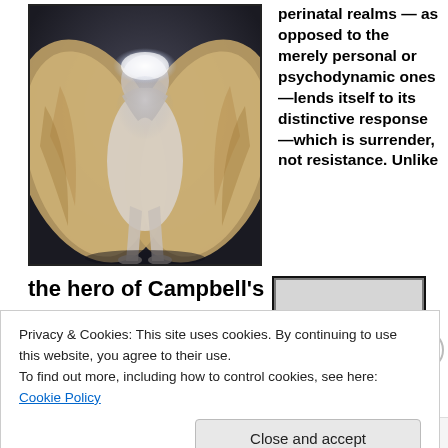[Figure (illustration): Digital painting of an angel figure crouched with large golden wings spread, glowing halo, dark background.]
perinatal realms — as opposed to the merely personal or psychodynamic ones—lends itself to its distinctive response—which is surrender, not resistance. Unlike
the hero of Campbell's
[Figure (screenshot): Partial image thumbnail, appears to be another illustration, mostly grey/white.]
Privacy & Cookies: This site uses cookies. By continuing to use this website, you agree to their use.
To find out more, including how to control cookies, see here: Cookie Policy
Close and accept